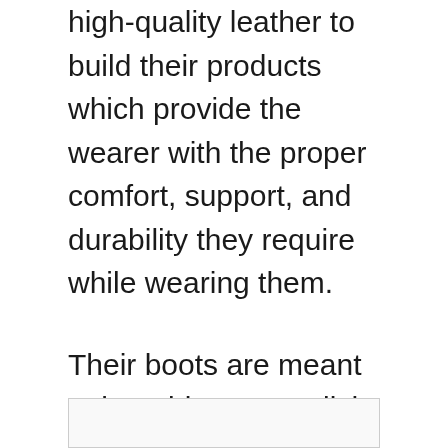high-quality leather to build their products which provide the wearer with the proper comfort, support, and durability they require while wearing them.
Their boots are meant to be a bit more stylish than traditional cowboy boots while still maintaining a classic western look. This brand was founded in 1972 by Jake and Teresa Gomez who reside out of Phoenix, Arizona.